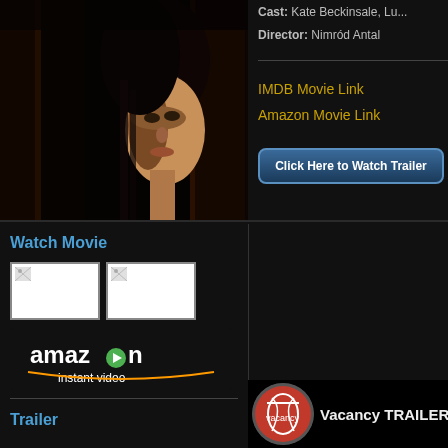[Figure (photo): Movie still showing a woman (Kate Beckinsale) peering around a dark door frame, dark horror film aesthetic]
Cast: Kate Beckinsale, Lu...
Director: Nimród Antal
IMDB Movie Link
Amazon Movie Link
[Figure (other): Click Here to Watch Trailer button]
Watch Movie
[Figure (other): Two broken image thumbnails side by side]
[Figure (other): Amazon Instant Video logo/button]
Trailer
[Figure (screenshot): Vacancy TRAILER 2007 video thumbnail with circular movie poster icon]